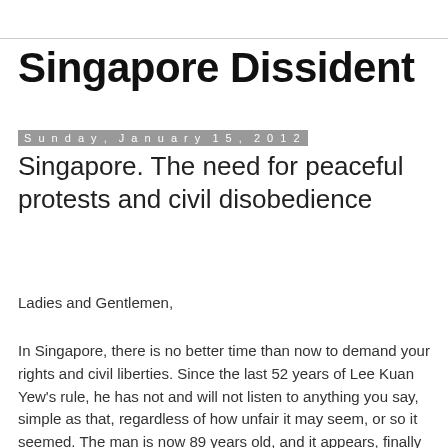Singapore Dissident
Sunday, January 15, 2012
Singapore. The need for peaceful protests and civil disobedience
Ladies and Gentlemen,
In Singapore, there is no better time than now to demand your rights and civil liberties. Since the last 52 years of Lee Kuan Yew's rule, he has not and will not listen to anything you say, simple as that, regardless of how unfair it may seem, or so it seemed. The man is now 89 years old, and it appears, finally he is on the defensive. I think he realises that the world has changed so much from what he was used to in 1959. The opening up of the Internet, more overseas travel, and the world becoming more connected does mean that it is no longer possible to isolate your people unless you want to